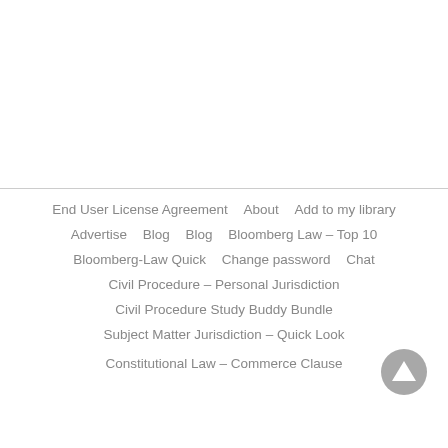End User License Agreement    About    Add to my library
Advertise    Blog    Blog    Bloomberg Law – Top 10
Bloomberg-Law Quick    Change password    Chat
Civil Procedure – Personal Jurisdiction
Civil Procedure Study Buddy Bundle
Subject Matter Jurisdiction – Quick Look
Constitutional Law – Commerce Clause